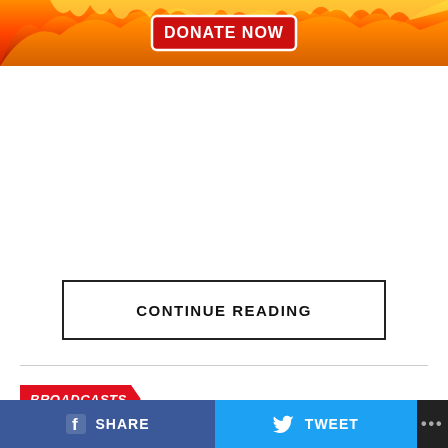[Figure (illustration): Fire/flames banner with DONATE NOW button in red with white text and border]
CONTINUE READING
BROADCASTS
How Yo Fu...Proved Th...
SHARE   TWEET   ...